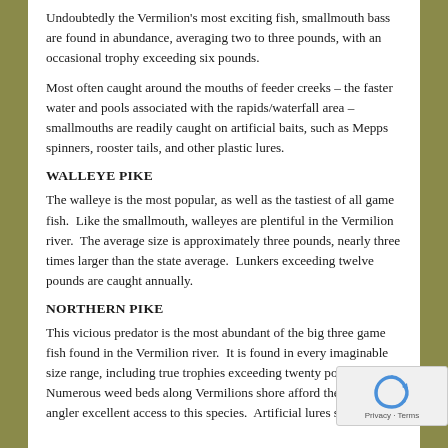Undoubtedly the Vermilion's most exciting fish, smallmouth bass are found in abundance, averaging two to three pounds, with an occasional trophy exceeding six pounds.
Most often caught around the mouths of feeder creeks – the faster water and pools associated with the rapids/waterfall area – smallmouths are readily caught on artificial baits, such as Mepps spinners, rooster tails, and other plastic lures.
WALLEYE PIKE
The walleye is the most popular, as well as the tastiest of all game fish.  Like the smallmouth, walleyes are plentiful in the Vermilion river.  The average size is approximately three pounds, nearly three times larger than the state average.  Lunkers exceeding twelve pounds are caught annually.
NORTHERN PIKE
This vicious predator is the most abundant of the big three game fish found in the Vermilion river.  It is found in every imaginable size range, including true trophies exceeding twenty pounds.  Numerous weed beds along Vermilions shore afford the serious angler excellent access to this species.  Artificial lures such as...